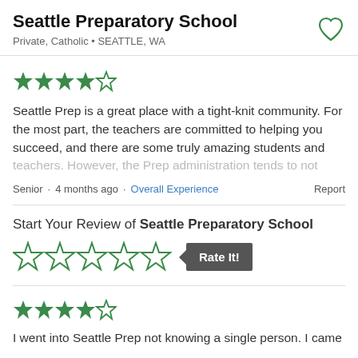Seattle Preparatory School
Private, Catholic • SEATTLE, WA
[Figure (other): 4-star rating (4 out of 5 green stars)]
Seattle Prep is a great place with a tight-knit community. For the most part, the teachers are committed to helping you succeed, and there are some truly amazing students and teachers. However, the Prep administration tends to not
Senior · 4 months ago · Overall Experience   Report
Start Your Review of Seattle Preparatory School
[Figure (other): 5 empty green star outlines for rating input, followed by a 'Rate It!' button]
[Figure (other): 4-star rating (4 out of 5 green stars)]
I went into Seattle Prep not knowing a single person. I came